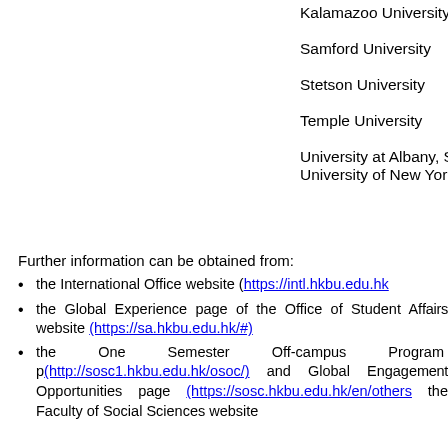Kalamazoo University
Samford University
Stetson University
Temple University
University at Albany, State University of New York
Further information can be obtained from:
the International Office website (https://intl.hkbu.edu.hk)
the Global Experience page of the Office of Student Affairs website (https://sa.hkbu.edu.hk/#)
the One Semester Off-campus Program page (http://sosc1.hkbu.edu.hk/osoc/) and Global Engagement Opportunities page (https://sosc.hkbu.edu.hk/en/others) of the Faculty of Social Sciences website